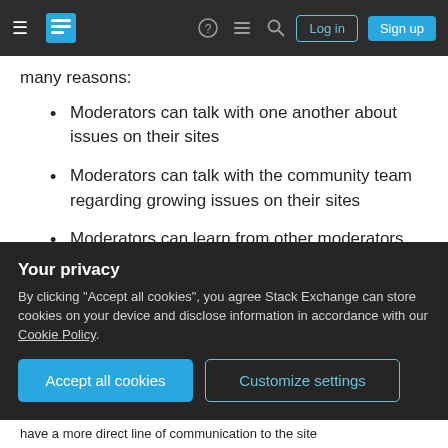Stack Exchange navigation bar with Log in and Sign up buttons
many reasons:
Moderators can talk with one another about issues on their sites
Moderators can talk with the community team regarding growing issues on their sites
Moderators can learn from other moderators
Room owners don't have this type of support. They are isolated to their room and have the support of the other owners of that room. I think this needs to
Your privacy
By clicking "Accept all cookies", you agree Stack Exchange can store cookies on your device and disclose information in accordance with our Cookie Policy.
have a more direct line of communication to the site